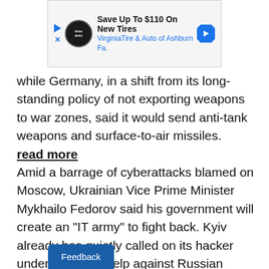[Figure (other): Advertisement banner: Save Up To $110 On New Tires - VirginiaTire & Auto of Ashburn Fa.]
while Germany, in a shift from its long-standing policy of not exporting weapons to war zones, said it would send anti-tank weapons and surface-to-air missiles. read more
Amid a barrage of cyberattacks blamed on Moscow, Ukrainian Vice Prime Minister Mykhailo Fedorov said his government will create an "IT army" to fight back. Kyiv already has quietly called on its hacker underground to help against Russian forces, Reuters exclusively reported. read more
Feedback